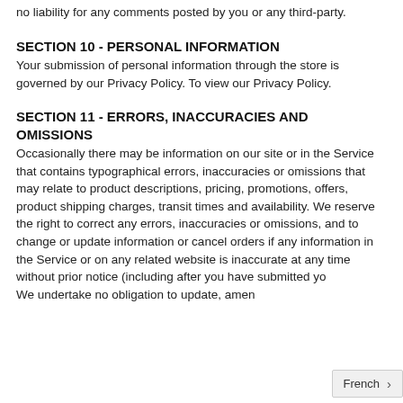no liability for any comments posted by you or any third-party.
SECTION 10 - PERSONAL INFORMATION
Your submission of personal information through the store is governed by our Privacy Policy. To view our Privacy Policy.
SECTION 11 - ERRORS, INACCURACIES AND OMISSIONS
Occasionally there may be information on our site or in the Service that contains typographical errors, inaccuracies or omissions that may relate to product descriptions, pricing, promotions, offers, product shipping charges, transit times and availability. We reserve the right to correct any errors, inaccuracies or omissions, and to change or update information or cancel orders if any information in the Service or on any related website is inaccurate at any time without prior notice (including after you have submitted yo... We undertake no obligation to update, amen...